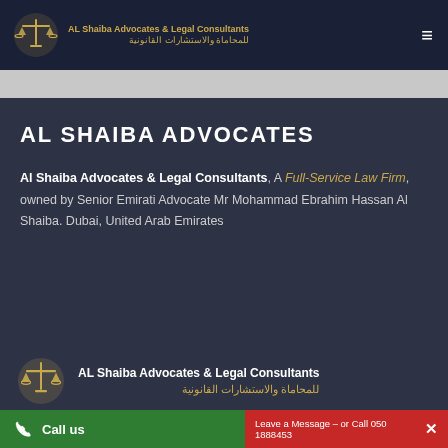[Figure (logo): Al Shaiba Advocates & Legal Consultants logo with golden scales icon and bilingual text in English and Arabic on dark navy background]
AL SHAIBA ADVOCATES
Al Shaiba Advocates & Legal Consultants, A Full-Service Law Firm, owned by Senior Emirati Advocate Mr Mohammad Ebrahim Hassan Al Shaiba. Dubai, United Arab Emirates
[Figure (logo): AL Shaiba Advocates & Legal Consultants logo large version with golden gavel icon and bilingual text]
Call us
Leave a Message – or Call 050 1888453